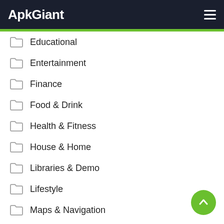ApkGiant
Educational
Entertainment
Finance
Food & Drink
Health & Fitness
House & Home
Libraries & Demo
Lifestyle
Maps & Navigation
Medical
Music